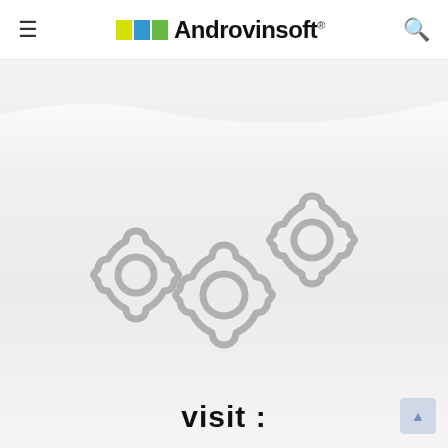≡  Androvinsoft® 🔍
[Figure (illustration): Three gear/cog icons arranged in a staircase pattern on a light gray background, representing settings or loading state]
visit :